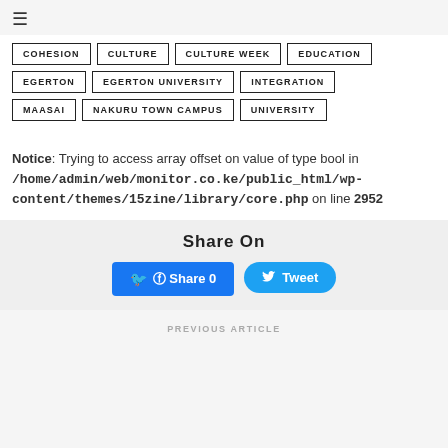≡
COHESION
CULTURE
CULTURE WEEK
EDUCATION
EGERTON
EGERTON UNIVERSITY
INTEGRATION
MAASAI
NAKURU TOWN CAMPUS
UNIVERSITY
Notice: Trying to access array offset on value of type bool in /home/admin/web/monitor.co.ke/public_html/wp-content/themes/15zine/library/core.php on line 2952
Share On
Share 0
Tweet
PREVIOUS ARTICLE